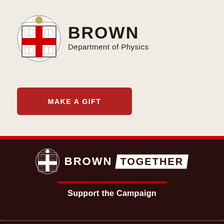[Figure (logo): Brown University shield crest logo in color (red cross, open books, sun figure at top)]
BROWN Department of Physics
MAKE A GIFT
[Figure (logo): Brown University shield crest logo in white, followed by BROWN TOGETHER wordmark in white and white-on-dark block]
Support the Campaign